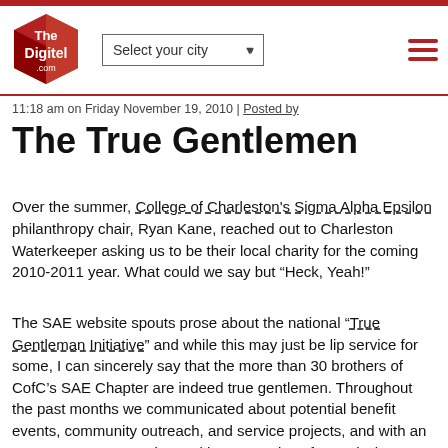The Digitel — Select your city
11:18 am on Friday November 19, 2010 | Posted by
The True Gentlemen
Over the summer, College of Charleston's Sigma Alpha Epsilon philanthropy chair, Ryan Kane, reached out to Charleston Waterkeeper asking us to be their local charity for the coming 2010-2011 year. What could we say but “Heck, Yeah!”
The SAE website spouts prose about the national “True Gentleman Initiative” and while this may just be lip service for some, I can sincerely say that the more than 30 brothers of CofC’s SAE Chapter are indeed true gentlemen. Throughout the past months we communicated about potential benefit events, community outreach, and service projects, and with an eagerness to stay active and be supportive of our mission, Ryan and the brothers maintained a steadfast focus on the work that needed to be done.